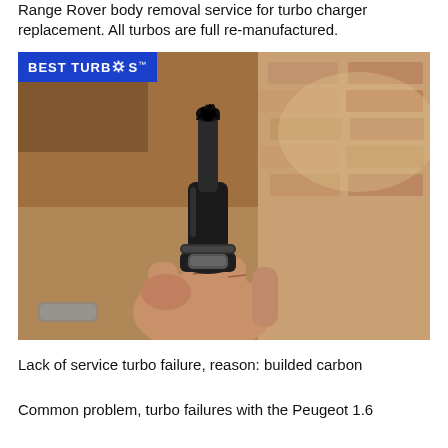Range Rover body removal service for turbo charger replacement. All turbos are full re-manufactured.
[Figure (photo): Close-up photograph of a hand holding a dirty, carbon-clogged turbo oil feed pipe/fitting with built-up black carbon deposits at the tip, against a concrete/brick background. Best Turbos logo overlay in top-left corner.]
Lack of service turbo failure, reason: builded carbon
Common problem, turbo failures with the Peugeot 1.6